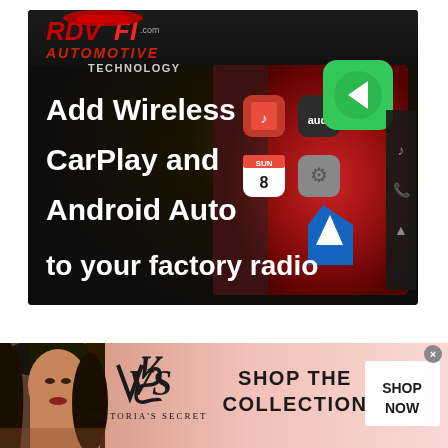[Figure (photo): Advertisement for RDVFL.com Automotive Technology showing a car touchscreen display with CarPlay and Android Auto icons. White bold text reads: 'Add Wireless CarPlay and Android Auto to your factory radio'. Logo in top-left corner shows 'RDVFL.com AUTOMOTIVE TECHNOLOGY' in red.]
[Figure (photo): Victoria's Secret banner advertisement. Left side shows a woman model photo. Center shows Victoria's Secret logo and text 'SHOP THE COLLECTION'. Right side shows a white button with text 'SHOP NOW'.]